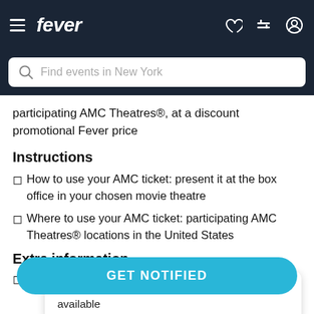fever — Find events in New York
participating AMC Theatres®, at a discount promotional Fever price
Instructions
How to use your AMC ticket: present it at the box office in your chosen movie theatre
Where to use your AMC ticket: participating AMC Theatres® locations in the United States
Extra information
Get notified when this or something similar is available
on your Doctor Strange in the Multiverse of
GET NOTIFIED
Please note: remember to check movie age